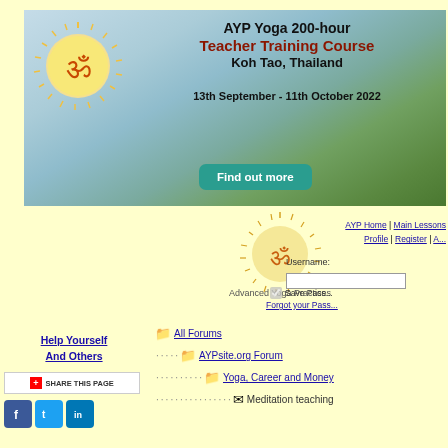[Figure (illustration): AYP Yoga 200-hour Teacher Training Course banner with Om symbol, tropical background, Koh Tao Thailand, dates 13th September - 11th October 2022, and Find out more button]
[Figure (logo): Advanced Yoga Practices Om sun logo with text 'Advanced Yoga Practices']
AYP Home | Main Lessons | Profile | Register | A...
Username:
Save Pass...
Forgot your Pass...
Help Yourself And Others
[Figure (infographic): SHARE THIS PAGE button with red plus icon]
[Figure (illustration): Social media icons: Facebook, Twitter, LinkedIn]
All Forums
AYPsite.org Forum
Yoga, Career and Money
Meditation teaching